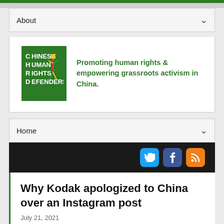About
[Figure (logo): Chinese Human Rights Defenders logo - green square with CHRD acronym and colorful figure, with tagline: Promoting human rights & empowering grassroots activism in China.]
Promoting human rights & empowering grassroots activism in China.
Home
Why Kodak apologized to China over an Instagram post
July 21, 2021